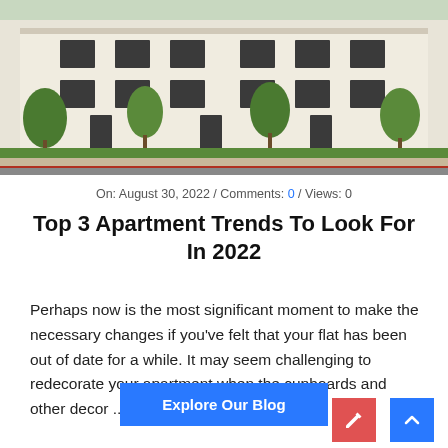[Figure (photo): Exterior photo of a modern apartment building with white facade, large windows, trees and landscaping in front]
On: August 30, 2022 / Comments: 0 / Views: 0
Top 3 Apartment Trends To Look For In 2022
Perhaps now is the most significant moment to make the necessary changes if you've felt that your flat has been out of date for a while. It may seem challenging to redecorate your apartment when the cupboards and other decor ...